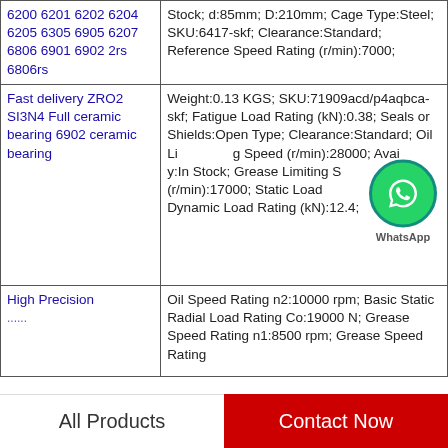| Product | Specifications |
| --- | --- |
| 6200 6201 6202 6204 6205 6305 6905 6207 6806 6901 6902 2rs 6806rs | Stock; d:85mm; D:210mm; Cage Type:Steel; SKU:6417-skf; Clearance:Standard; Reference Speed Rating (r/min):7000; |
| Fast delivery ZRO2 SI3N4 Full ceramic bearing 6902 ceramic bearing | Weight:0.13 KGS; SKU:71909acd/p4aqbca-skf; Fatigue Load Rating (kN):0.38; Seals or Shields:Open Type; Clearance:Standard; Oil Limiting Speed (r/min):28000; Availability:In Stock; Grease Limiting Speed (r/min):17000; Static Load Rating (kN):9; Dynamic Load Rating (kN):12.4; |
| High Precision ... | Oil Speed Rating n2:10000 rpm; Basic Static Radial Load Rating Co:19000 N; Grease Speed Rating n1:8500 rpm; Grease Speed Rating |
All Products    Contact Now